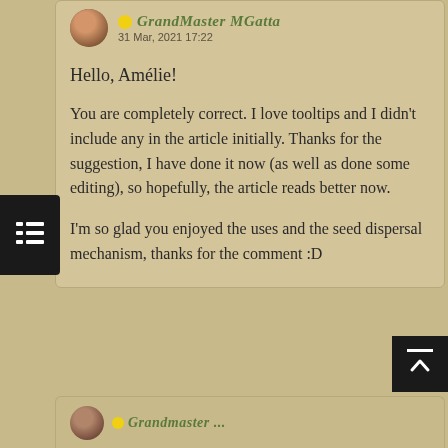GrandMaster MGatta — 31 Mar, 2021 17:22
Hello, Amélie!
You are completely correct. I love tooltips and I didn't include any in the article initially. Thanks for the suggestion, I have done it now (as well as done some editing), so hopefully, the article reads better now.
I'm so glad you enjoyed the uses and the seed dispersal mechanism, thanks for the comment :D